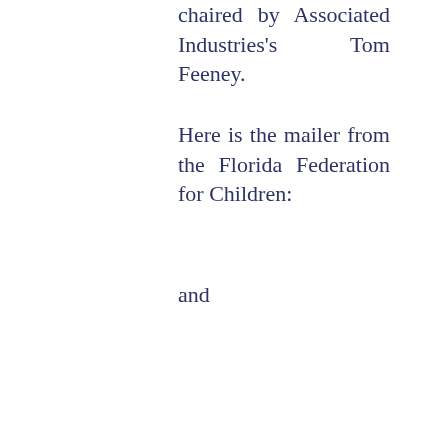chaired by Associated Industries's Tom Feeney.
Here is the mailer from the Florida Federation for Children:
and